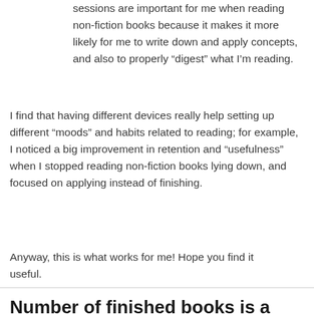sessions are important for me when reading non-fiction books because it makes it more likely for me to write down and apply concepts, and also to properly “digest” what I’m reading.
I find that having different devices really help setting up different “moods” and habits related to reading; for example, I noticed a big improvement in retention and “usefulness” when I stopped reading non-fiction books lying down, and focused on applying instead of finishing.
Anyway, this is what works for me! Hope you find it useful.
Number of finished books is a